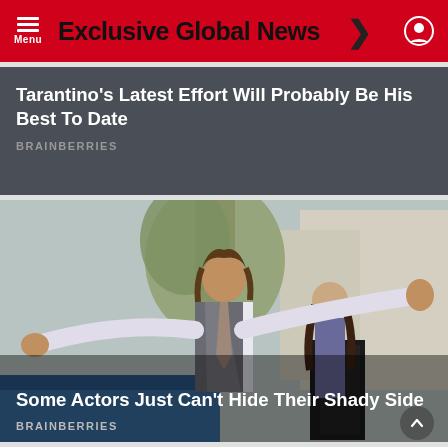Exclusive Global News
Tarantino's Latest Effort Will Probably Be His Best To Date
BRAINBERRIES
[Figure (photo): Man in grey vest and loose tie with arms outstretched near a car, another person behind him, outdoors scene]
Some Actors Just Can't Hide Their Shady Side
BRAINBERRIES
[Figure (photo): Partial view of outdoor scene with greenery, bottom of page]